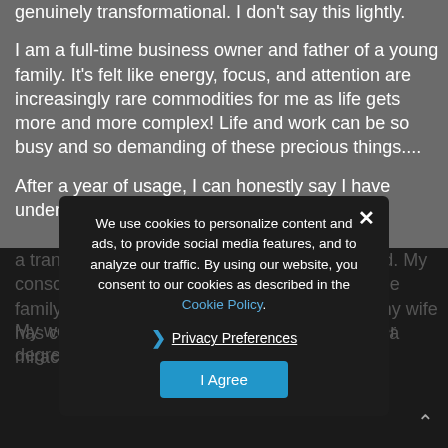genuinely transformational. I don't say this lightly.
I am a full-time business owner and father of a young family. It's felt like energy, focus, and attention are increasingly rare commodities for me as life gets more and more complex! Life and work can be so busy and so demanding of these precious things....
After a year of usage, I can honestly say I have undergone a transformation in the fullest sense of the word. My consciousness to notice what's happening in the family...seem to be more pre-emotive. Even my wife has commented on this (which is something of a miracle!).
We use cookies to personalize content and ads, to provide social media features, and to analyze our traffic. By using our website, you consent to our cookies as described in the Cookie Policy.
Privacy Preferences
I Agree
My work has benefited hugely through a greater degree of